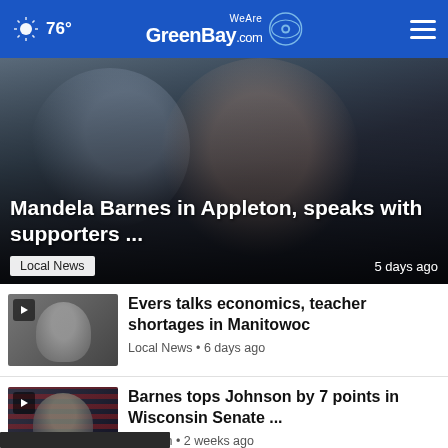WeAreGreenBay.com — 76°
[Figure (photo): Hero image of two people smiling, looking at a laptop, overlaid with news headline text]
Mandela Barnes in Appleton, speaks with supporters ...
Local News · 5 days ago
[Figure (photo): Thumbnail of a man speaking, video play button overlay]
Evers talks economics, teacher shortages in Manitowoc
Local News • 6 days ago
[Figure (photo): Thumbnail of a man in front of American flag background, video play button overlay]
Barnes tops Johnson by 7 points in Wisconsin Senate ...
Election • 2 weeks ago